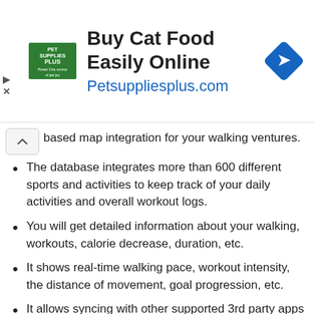[Figure (other): Advertisement banner for Pet Supplies Plus: 'Buy Cat Food Easily Online' with URL Petsuppliesplus.com, Pet Supplies Plus logo, and a blue diamond navigation icon]
based map integration for your walking ventures.
The database integrates more than 600 different sports and activities to keep track of your daily activities and overall workout logs.
You will get detailed information about your walking, workouts, calorie decrease, duration, etc.
It shows real-time walking pace, workout intensity, the distance of movement, goal progression, etc.
It allows syncing with other supported 3rd party apps and popular sports gear with ease.